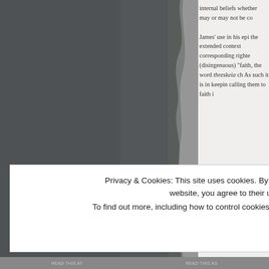[Figure (photo): Dark gray textured image occupying the left portion of the page, appears to be a torn or weathered surface.]
internal beliefs whether may or may not be co
James' use in his epi the extended context corresponding righte (disingenuous) "faith, the word threskeia ch As such it is in keepin calling them to faith i
Privacy & Cookies: This site uses cookies. By continuing to use this website, you agree to their use. To find out more, including how to control cookies, see here: Cookie Policy
Close and accept